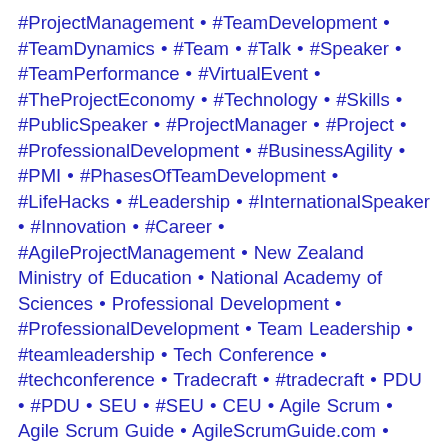#ProjectManagement • #TeamDevelopment • #TeamDynamics • #Team • #Talk • #Speaker • #TeamPerformance • #VirtualEvent • #TheProjectEconomy • #Technology • #Skills • #PublicSpeaker • #ProjectManager • #Project • #ProfessionalDevelopment • #BusinessAgility • #PMI • #PhasesOfTeamDevelopment • #LifeHacks • #Leadership • #InternationalSpeaker • #Innovation • #Career • #AgileProjectManagement • New Zealand Ministry of Education • National Academy of Sciences • Professional Development • #ProfessionalDevelopment • Team Leadership • #teamleadership • Tech Conference • #techconference • Tradecraft • #tradecraft • PDU • #PDU • SEU • #SEU • CEU • Agile Scrum • Agile Scrum Guide • AgileScrumGuide.com • @AgileScrumGuide • #agilescrum • #agilescrumguide • Agile Scrum: Your Quick Start Guide with Step-by-Step Instructions • Agile Transformation • Agile Transformation book • #AgileTransformation • @Exceptional_LLC •